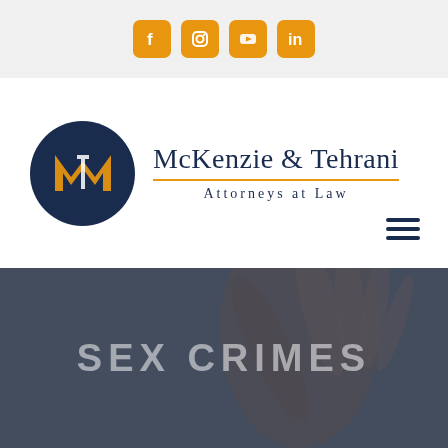Social media icons: Facebook, Instagram, YouTube, LinkedIn
[Figure (logo): McKenzie & Tehrani Attorneys at Law logo with dark navy circle containing stylized MT monogram in gold and white, beside firm name text]
SEX CRIMES